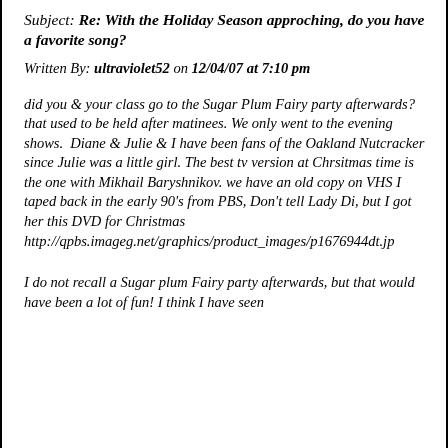Subject: Re: With the Holiday Season approching, do you have a favorite song?
Written By: ultraviolet52 on 12/04/07 at 7:10 pm
did you & your class go to the Sugar Plum Fairy party afterwards? that used to be held after matinees. We only went to the evening shows.  Diane & Julie & I have been fans of the Oakland Nutcracker since Julie was a little girl. The best tv version at Chrsitmas time is the one with Mikhail Baryshnikov. we have an old copy on VHS I taped back in the early 90's from PBS, Don't tell Lady Di, but I got her this DVD for Christmas http://qpbs.imageg.net/graphics/product_images/p1676944dt.jp
I do not recall a Sugar plum Fairy party afterwards, but that would have been a lot of fun! I think I have seen